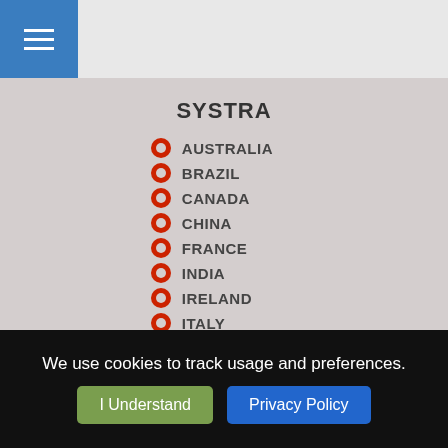SYSTRA navigation header with menu and search icons
SYSTRA
AUSTRALIA
BRAZIL
CANADA
CHINA
FRANCE
INDIA
IRELAND
ITALY
POLAND
SOUTH KOREA
SWEDEN
UK
USA
We use cookies to track usage and preferences. I Understand  Privacy Policy